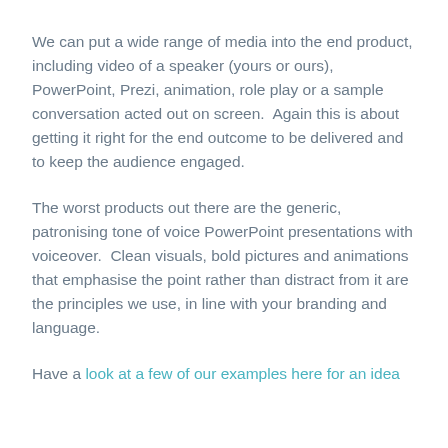We can put a wide range of media into the end product, including video of a speaker (yours or ours), PowerPoint, Prezi, animation, role play or a sample conversation acted out on screen.  Again this is about getting it right for the end outcome to be delivered and to keep the audience engaged.
The worst products out there are the generic, patronising tone of voice PowerPoint presentations with voiceover.  Clean visuals, bold pictures and animations that emphasise the point rather than distract from it are the principles we use, in line with your branding and language.
Have a look at a few of our examples here for an idea